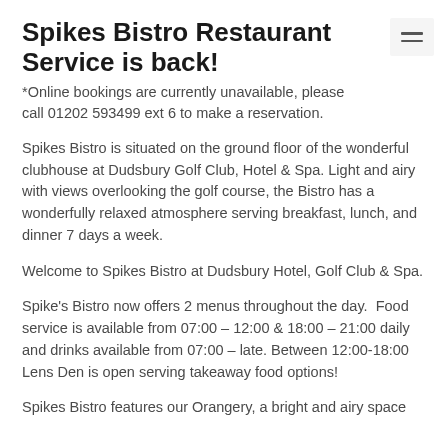Spikes Bistro Restaurant Service is back!
*Online bookings are currently unavailable, please call 01202 593499 ext 6 to make a reservation.
Spikes Bistro is situated on the ground floor of the wonderful clubhouse at Dudsbury Golf Club, Hotel & Spa. Light and airy with views overlooking the golf course, the Bistro has a wonderfully relaxed atmosphere serving breakfast, lunch, and dinner 7 days a week.
Welcome to Spikes Bistro at Dudsbury Hotel, Golf Club & Spa.
Spike's Bistro now offers 2 menus throughout the day.  Food service is available from 07:00 – 12:00 & 18:00 – 21:00 daily and drinks available from 07:00 – late. Between 12:00-18:00 Lens Den is open serving takeaway food options!
Spikes Bistro features our Orangery, a bright and airy space